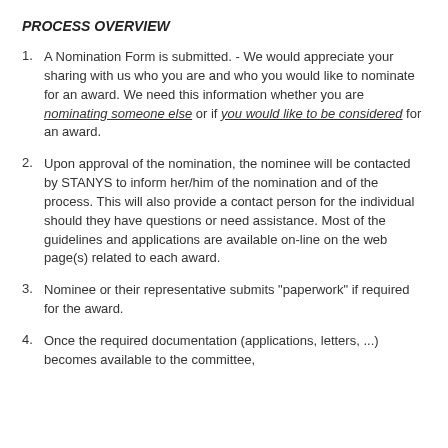PROCESS OVERVIEW
A Nomination Form is submitted.  - We would appreciate your sharing with us who you are and who you would like to nominate for an award.  We need this information whether you are nominating someone else or if you would like to be considered for an award.
Upon approval of the nomination, the nominee will be contacted by STANYS to inform her/him of the nomination and of the process.  This will also provide a contact person for the individual should they have questions or need assistance.  Most of the guidelines and applications are available on-line on the web page(s) related to each award.
Nominee or their representative submits "paperwork" if required for the award.
Once the required documentation (applications, letters, ...) becomes available to the committee,